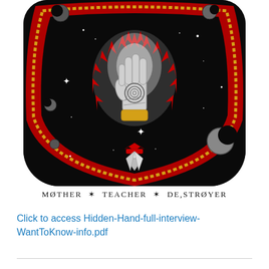[Figure (illustration): Mystical tattoo-style illustration on black background: a glowing hand with a spiral in the palm, surrounded by red and white flames/sun rays, gold rope border, floating planets/moons in cosmic space. At the bottom: a red crown and a diamond gem. Style is traditional tattoo flash art.]
MOTHER * TEACHER * DESTROYER
Click to access Hidden-Hand-full-interview-WantToKnow-info.pdf